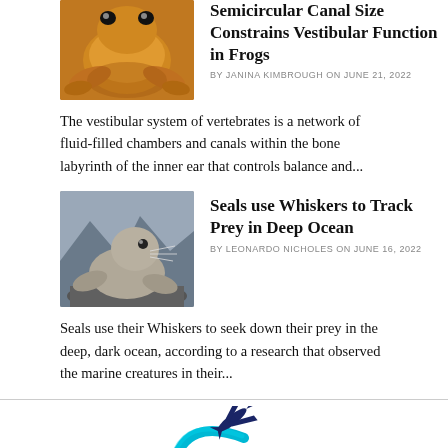[Figure (photo): Orange/red frog photographed from above on rocks]
Semicircular Canal Size Constrains Vestibular Function in Frogs
BY JANINA KIMBROUGH ON JUNE 21, 2022
The vestibular system of vertebrates is a network of fluid-filled chambers and canals within the bone labyrinth of the inner ear that controls balance and...
[Figure (photo): A seal resting on rocks with mountainous background]
Seals use Whiskers to Track Prey in Deep Ocean
BY LEONARDO NICHOLES ON JUNE 16, 2022
Seals use their Whiskers to seek down their prey in the deep, dark ocean, according to a research that observed the marine creatures in their...
[Figure (logo): Travel/airline logo with globe arc and airplane icon in dark blue and cyan]